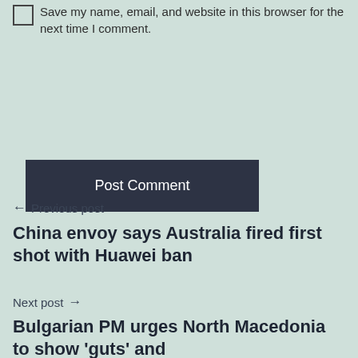Save my name, email, and website in this browser for the next time I comment.
Post Comment
← Previous post
China envoy says Australia fired first shot with Huawei ban
Next post →
Bulgarian PM urges North Macedonia to show 'guts' and